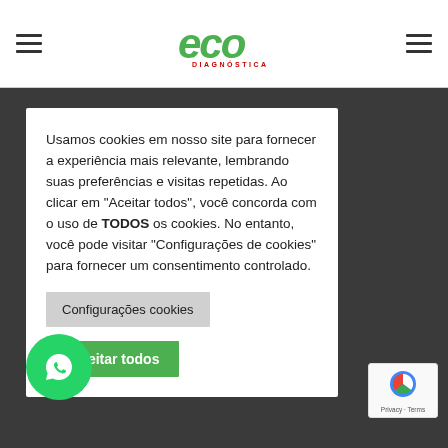[Figure (logo): ECO Diagnóstica logo — green italic ECO lettering with red DIAGNÓSTICA subtitle]
Usamos cookies em nosso site para fornecer a experiência mais relevante, lembrando suas preferências e visitas repetidas. Ao clicar em "Aceitar todos", você concorda com o uso de TODOS os cookies. No entanto, você pode visitar "Configurações de cookies" para fornecer um consentimento controlado.
Configurações cookies
Aceitar todos